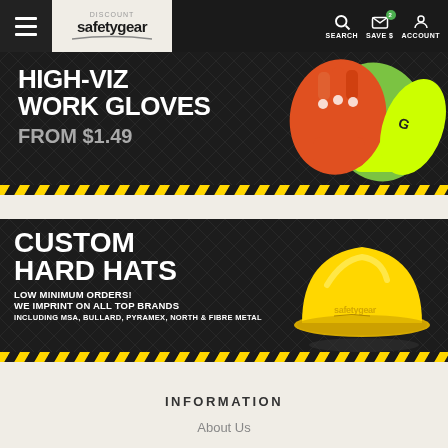[Figure (screenshot): Website header navigation bar with hamburger menu, Discount Safety Gear logo, and icons for Search, Save $, and Account]
[Figure (infographic): Promotional banner: HIGH-VIZ WORK GLOVES FROM $1.49, dark background with high-visibility work gloves image, yellow and black diagonal stripe at bottom]
[Figure (infographic): Promotional banner: CUSTOM HARD HATS, LOW MINIMUM ORDERS! WE IMPRINT ON ALL TOP BRANDS, INCLUDING MSA, BULLARD, PYRAMEX, NORTH & FIBRE METAL, dark background with yellow hard hat, yellow and black diagonal stripe at bottom]
INFORMATION
About Us